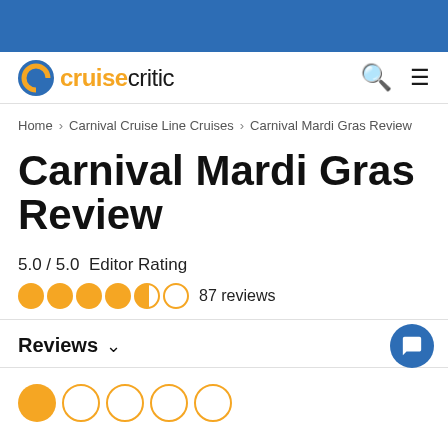[Figure (logo): Cruise Critic logo with orange C icon and two-tone text]
Home > Carnival Cruise Line Cruises > Carnival Mardi Gras Review
Carnival Mardi Gras Review
5.0 / 5.0  Editor Rating
87 reviews
Reviews
[Figure (other): One full orange circle followed by four empty orange circles (star rating row)]